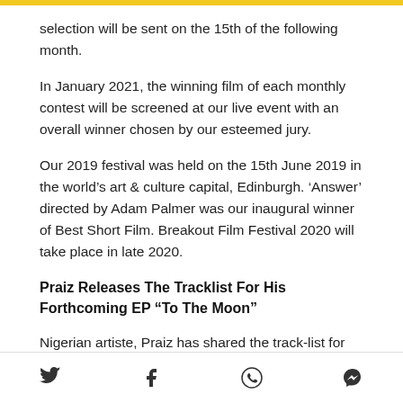selection will be sent on the 15th of the following month.
In January 2021, the winning film of each monthly contest will be screened at our live event with an overall winner chosen by our esteemed jury.
Our 2019 festival was held on the 15th June 2019 in the world's art & culture capital, Edinburgh. 'Answer' directed by Adam Palmer was our inaugural winner of Best Short Film. Breakout Film Festival 2020 will take place in late 2020.
Praiz Releases The Tracklist For His Forthcoming EP “To The Moon”
Nigerian artiste, Praiz has shared the track-list for his forthcoming EP “To The Moon” which is scheduled to drop on Friday, July 3.
Social share icons: Twitter, Facebook, WhatsApp, Messenger